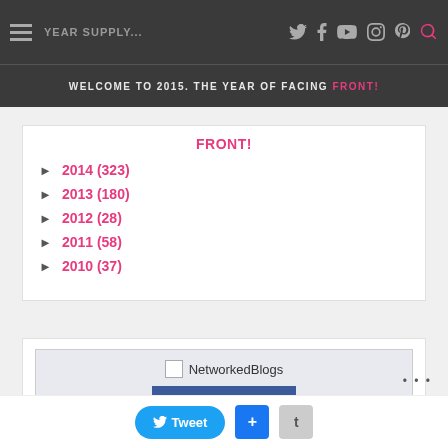YEAR SUPPLY...
WELCOME TO 2015. THE YEAR OF FACING FRONT!
► 2014 (323)
► 2013 (180)
► 2012 (28)
► 2011 (58)
► 2010 (37)
[Figure (screenshot): NetworkedBlogs widget with Follow this blog button]
Tweet + t